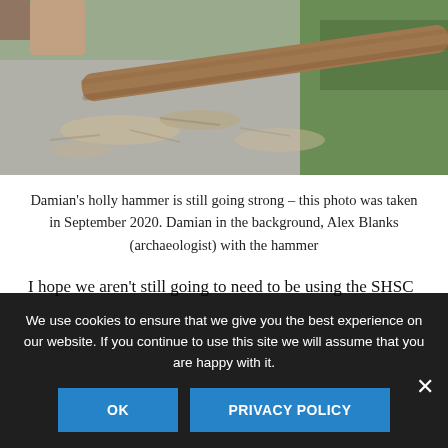[Figure (photo): Outdoor scene showing a log/wooden hammer tool on gravelly ground with wood chips scattered around, grass visible in the background, partial view of a person's legs/feet]
Damian's holly hammer is still going strong – this photo was taken in September 2020. Damian in the background, Alex Blanks (archaeologist) with the hammer
I hope we aren't still going to need to be using the SHSC
We use cookies to ensure that we give you the best experience on our website. If you continue to use this site we will assume that you are happy with it.
OK
PRIVACY POLICY